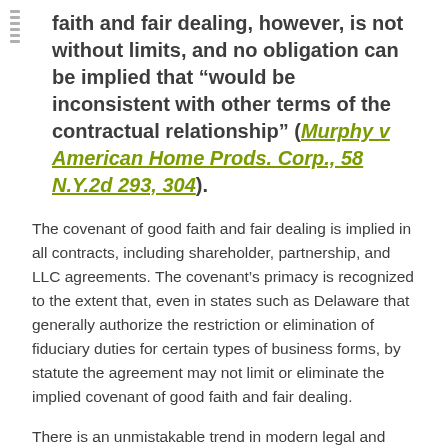faith and fair dealing, however, is not without limits, and no obligation can be implied that “would be inconsistent with other terms of the contractual relationship” (Murphy v American Home Prods. Corp., 58 N.Y.2d 293, 304).
The covenant of good faith and fair dealing is implied in all contracts, including shareholder, partnership, and LLC agreements. The covenant’s primacy is recognized to the extent that, even in states such as Delaware that generally authorize the restriction or elimination of fiduciary duties for certain types of business forms, by statute the agreement may not limit or eliminate the implied covenant of good faith and fair dealing.
There is an unmistakable trend in modern legal and